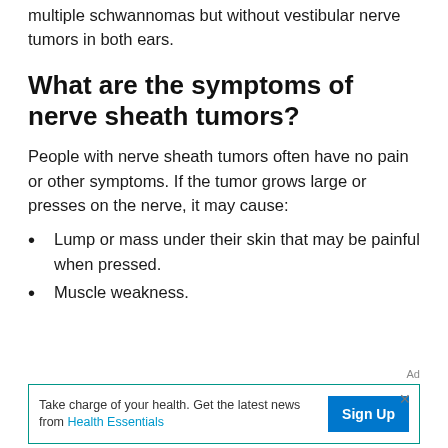multiple schwannomas but without vestibular nerve tumors in both ears.
What are the symptoms of nerve sheath tumors?
People with nerve sheath tumors often have no pain or other symptoms. If the tumor grows large or presses on the nerve, it may cause:
Lump or mass under their skin that may be painful when pressed.
Muscle weakness.
Ad
Take charge of your health. Get the latest news from Health Essentials  Sign Up